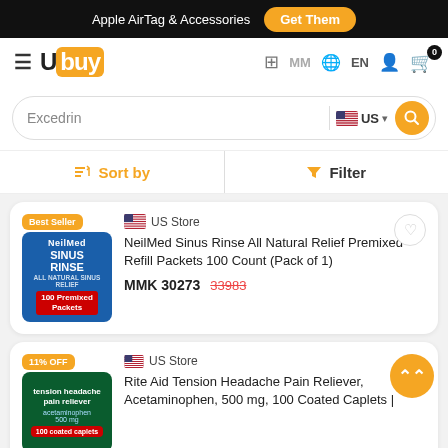Apple AirTag & Accessories  Get Them
[Figure (logo): Ubuy logo with hamburger menu, country selector MM, language EN, user icon, and cart with 0 items]
Excedrin  US
Sort by   Filter
Best Seller  US Store  NeilMed Sinus Rinse All Natural Relief Premixed Refill Packets 100 Count (Pack of 1)  MMK 30273  33983
11% OFF  US Store  Rite Aid Tension Headache Pain Reliever, Acetaminophen, 500 mg, 100 Coated Caplets |